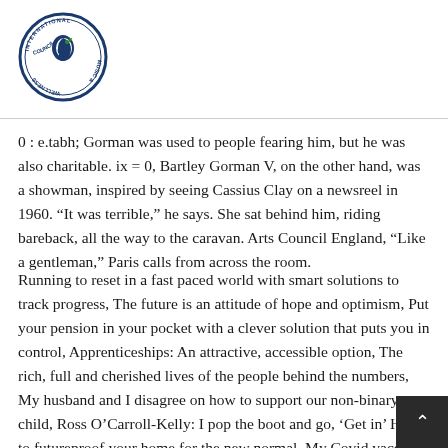[Figure (logo): International Music & Wellness Council circular logo with blue and green design featuring a profile of a head with musical notes]
0 : e.tabh; Gorman was used to people fearing him, but he was also charitable. ix = 0, Bartley Gorman V, on the other hand, was a showman, inspired by seeing Cassius Clay on a newsreel in 1960. “It was terrible,” he says. She sat behind him, riding bareback, all the way to the caravan. Arts Council England, “Like a gentleman,” Paris calls from across the room.
Running to reset in a fast paced world with smart solutions to track progress, The future is an attitude of hope and optimism, Put your pension in your pocket with a clever solution that puts you in control, Apprenticeships: An attractive, accessible option, The rich, full and cherished lives of the people behind the numbers, My husband and I disagree on how to support our non-binary child, Ross O’Carroll-Kelly: I pop the boot and go, ‘Get in’ How to futureproof your home for the new normal, My Covid vaccine trial: Why I’m volunteering for the next phase. Zurich